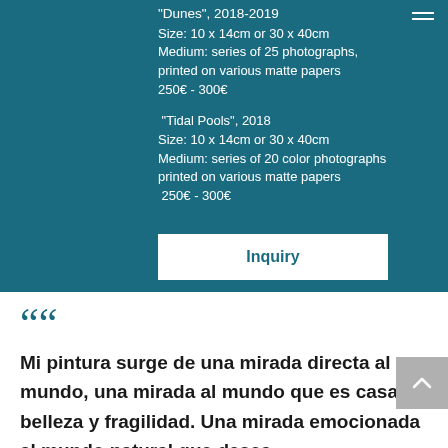"Dunes", 2018-2019
Size: 10 x 14cm or 30 x 40cm
Medium: series of 25 photographs, printed on various matte papers
250€ - 300€
"Tidal Pools", 2018
Size: 10 x 14cm or 30 x 40cm
Medium: series of 20 color photographs printed on various matte papers
250€ - 300€
Inquiry
““
Mi pintura surge de una mirada directa al mundo, una mirada al mundo que es casa, belleza y fragilidad. Una mirada emocionada al mundo natural que desea